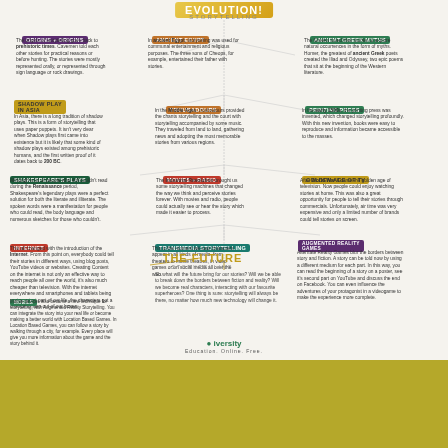EVOLUTION! STORYTELLING
ORIGINS + ORIGINS
The origins of storytelling goes back to prehistoric times. Cavemen told each other stories for practical reasons or before hunting. The stories were mostly represented orally, or represented through sign language or rock drawings.
ANCIENT EGYPT
In ancient Egypt, storytelling was used for communal entertainment and religious purposes. The three sons of Cheops, for example, entertained their father with stories.
ANCIENT GREEK MYTHS
The Greeks loved their stories to explore natural occurrences in the form of myths. Homer, the greatest of ancient Greek poets created the Iliad and Odyssey, two epic poems that sit at the beginning of the Western literature.
SHADOW PLAY IN ASIA
In Asia, there is a long tradition of shadow plays. This is a form of storytelling that uses paper puppets. It isn't very clear when Shadow plays first came into existence but it is likely that some kind of shadow plays existed among prehistoric humans, and the first written proof of it dates back to 200 BC.
TROUBADOURS
In the Middle Ages, troubadours provided the chants storytelling and the court with storytelling accompanied by some music. They traveled from land to land, gathering news and adopting the most memorable stories from various regions.
PRINTING PRESS
In the early 1500s, the printing press was invented, which changed storytelling profoundly. With this new invention, books were easy to reproduce and information became accessible to the masses.
SHAKESPEARE'S PLAYS
Although a lot of people who still couldn't read during the Renaissance period, Shakespeare's legendary plays were a perfect solution for both the literate and illiterate. The spoken words were a manifestation for people who could read, the body language and numerous sketches for those who couldn't.
MOVIES + RADIO
The Industrial Revolution brought us some storytelling machines that changed the way we think and perceive stories forever. With movies and radio, people could actually see or hear the story which made it easier to process.
GOLDEN AGE OF TV
After World War II came the golden age of television. Now people could enjoy watching stories at home. This was also a great opportunity for people to tell their stories through commercials. Unfortunately, air time was very expensive and only a limited number of brands could tell stories on screen.
INTERNET
This all changed with the introduction of the Internet. From this point on, everybody could tell their stories in different ways, using blog posts, YouTube videos or websites. Creating Content on the internet is not only an effective way to reach people all over the world, it's also much cheaper than television. With the internet everywhere and smartphones and tablets being an important part of our life, the characters got a chance to step out of our boxes.
TRANSMEDIA STORYTELLING
This is the moment we saw characters appear in all kinds of media, from theaters to movie theatres, in video games or on social media all over the web.
AUGMENTED REALITY GAMES
Alternate Reality Games blur the borders between story and fiction. A story can be told now by using a different medium for each part. In this way, you can read the beginning of a story on a poster, see it's second part on YouTube and discuss the end on Facebook. You can even influence the adventures of your protagonist in a videogame to make the experience more complete.
MOBILE
Mobile devices also became a new technique for storytelling, with Augmented Reality Storytelling. You can integrate the story into your real life or become making a better world with Location Based Games. In Location Based Games, you can follow a story by walking through a city, for example. Every place will give you more information about the game and the story behind it.
THE FUTURE STORYTELLING
So what will the future bring for our stories? Will we be able to break down the borders between fiction and reality? Will we become real characters, interacting with our favourite superheroes? One thing is sure: storytelling will always be there, no matter how much new technology will change it.
iversity Education. Online. Free.